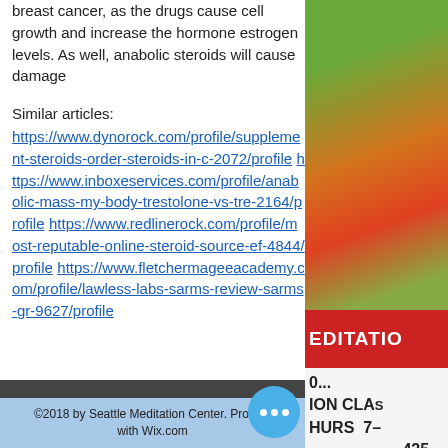breast cancer, as the drugs cause cell growth and increase the hormone estrogen levels. As well, anabolic steroids will cause damage
Similar articles:
https://www.dynorock.com/profile/supplement-steroids-order-steroids-in-c-2072/profile https://www.inboxeservices.com/profile/anabolic-mass-my-body-trestolone-vs-tre-2164/profile https://www.redlinerock.com/profile/most-reputable-online-steroid-source-ef-4844/profile https://www.fletchermageeacademy.com/profile/lawless-labs-sarms-review-sarms-gr-9627/profile
[Figure (photo): Right column showing a garden/plant photo on top and a sign reading 'EDITATION' in red with text 'ION CLAS HURS 7- 425-' below]
©2018 by Seattle Meditation Center. Proudly ... with Wix.com